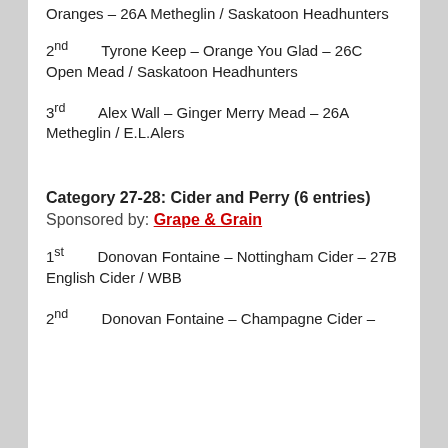Oranges – 26A Metheglin / Saskatoon Headhunters
2nd   Tyrone Keep – Orange You Glad – 26C Open Mead / Saskatoon Headhunters
3rd   Alex Wall – Ginger Merry Mead – 26A Metheglin / E.L.Alers
Category 27-28: Cider and Perry (6 entries) Sponsored by: Grape & Grain
1st   Donovan Fontaine – Nottingham Cider – 27B English Cider / WBB
2nd   Donovan Fontaine – Champagne Cider – ... Cider / WBB